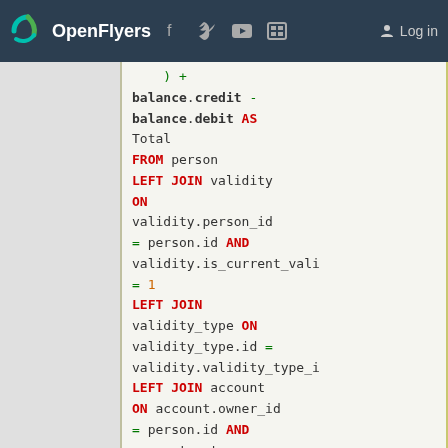OpenFlyers | Log in
[Figure (screenshot): OpenFlyers website navigation bar with logo, social media icons (Facebook, Twitter, YouTube, RSS), and Log in button]